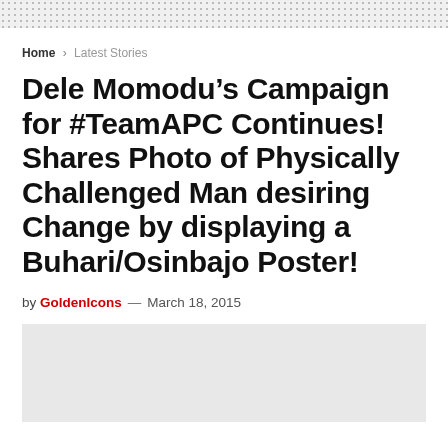Home > Latest Stories
Dele Momodu’s Campaign for #TeamAPC Continues! Shares Photo of Physically Challenged Man desiring Change by displaying a Buhari/Osinbajo Poster!
by GoldenIcons — March 18, 2015
[Figure (photo): Image placeholder area (light gray background)]